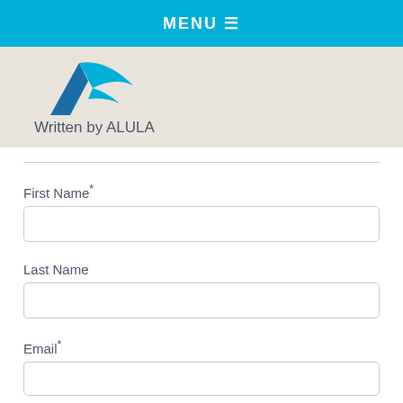MENU ≡
[Figure (logo): ALULA logo — stylized bird/wing shape in blue, triangular design]
Written by ALULA
First Name*
Last Name
Email*